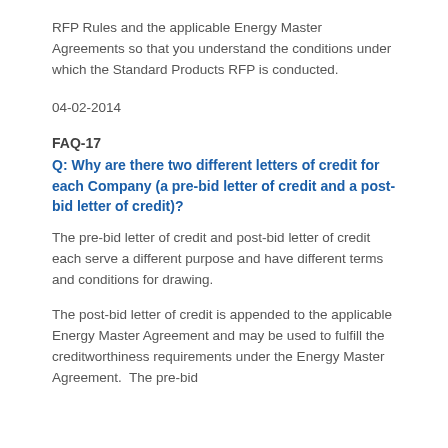RFP Rules and the applicable Energy Master Agreements so that you understand the conditions under which the Standard Products RFP is conducted.
04-02-2014
FAQ-17
Q: Why are there two different letters of credit for each Company (a pre-bid letter of credit and a post-bid letter of credit)?
The pre-bid letter of credit and post-bid letter of credit each serve a different purpose and have different terms and conditions for drawing.
The post-bid letter of credit is appended to the applicable Energy Master Agreement and may be used to fulfill the creditworthiness requirements under the Energy Master Agreement. The pre-bid